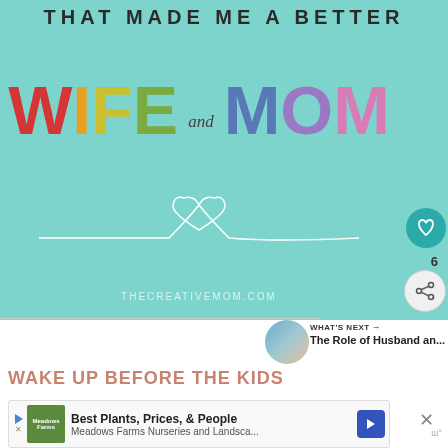[Figure (illustration): Teal/mint background image with text 'THAT MADE ME A BETTER' at top, then large colorful letters spelling 'WIFE and MOM', a white heart with line design, and 'THECREATIVEMOM.COM' at bottom. UI elements include a heart/like button, number 6, and share button on the right side.]
WHAT'S NEXT → The Role of Husband an...
WAKE UP BEFORE THE KIDS
Best Plants, Prices, & People
Meadows Farms Nurseries and Landsca...